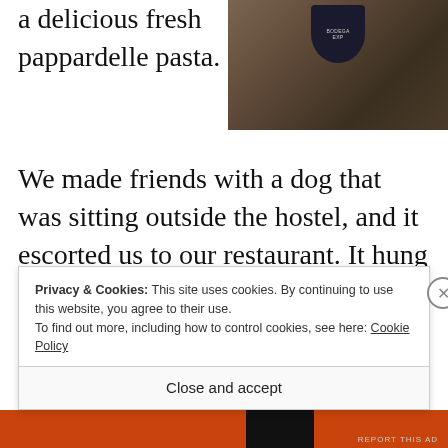a delicious fresh pappardelle pasta.
[Figure (photo): Close-up photo of a dark wine bottle cap/label on a wooden surface, partially cropped. The label reads 'BODEGA EX...' in light text on dark background.]
We made friends with a dog that was sitting outside the hostel, and it escorted us to our restaurant. It hung out with us a few times after that and was very sweet. El Calafate had a ton of dogs just roaming around the streets.
Privacy & Cookies: This site uses cookies. By continuing to use this website, you agree to their use.
To find out more, including how to control cookies, see here: Cookie Policy
Close and accept